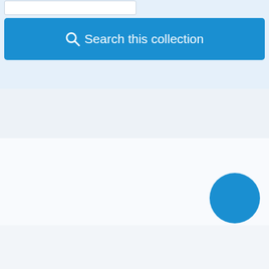[Figure (screenshot): Search interface showing a search input box at top left and a blue 'Search this collection' button below it, on a light blue background. Below are alternating light gray and white horizontal sections. A large blue circle appears in the lower right area of the page.]